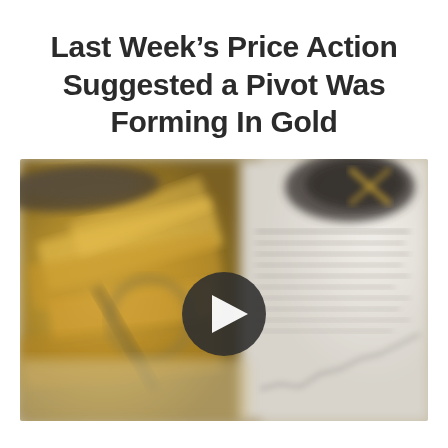Last Week’s Price Action Suggested a Pivot Was Forming In Gold
[Figure (photo): Blurred photo of gold bars and financial documents/charts with a play button overlay in the center, indicating a video thumbnail.]